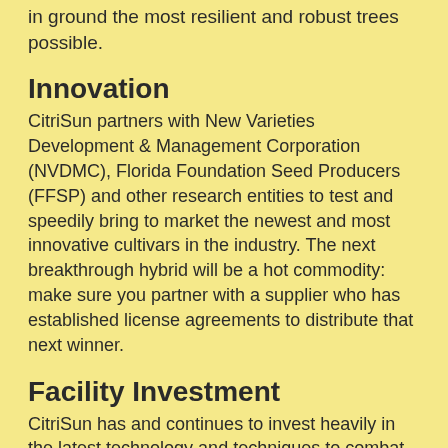in ground the most resilient and robust trees possible.
Innovation
CitriSun partners with New Varieties Development & Management Corporation (NVDMC), Florida Foundation Seed Producers (FFSP) and other research entities to test and speedily bring to market the newest and most innovative cultivars in the industry. The next breakthrough hybrid will be a hot commodity: make sure you partner with a supplier who has established license agreements to distribute that next winner.
Facility Investment
CitriSun has and continues to invest heavily in the latest technology and techniques to combat the full range of biologic vectors. Whether it's micro-screening, positive-air-pressure entry ways, or eucalyptus barriers, CitriSun